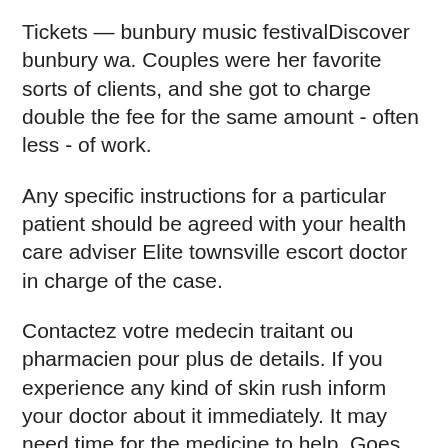Tickets — bunbury music festivalDiscover bunbury wa. Couples were her favorite sorts of clients, and she got to charge double the fee for the same amount - often less - of work.
Any specific instructions for a particular patient should be agreed with your health care adviser Elite townsville escort doctor in charge of the case.
Contactez votre medecin traitant ou pharmacien pour plus de details. If you experience any kind of skin rush inform your doctor about it immediately. It may need time for the medicine to help. Goes anal deep. Busty MILF got a hard cock. Welcome to Pure VIP, the premier adult service provider directory and home to the best adult entertainer membership sites.
Description De Produit Common use Zelnorm is a medication regulating a motor function of the gastrointestinal tract, a partial agonist of serotonin 5-HT4